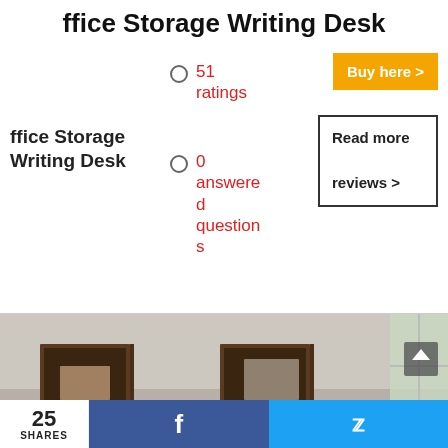ffice Storage Writing Desk
ffice Storage Writing Desk
51 ratings
0 answered questions
Buy here >
Read more reviews >
[Figure (photo): Photo of a dark wood office storage writing desk hutch against a light wall with a window visible on the right side]
25 SHARES
f
Twitter bird icon